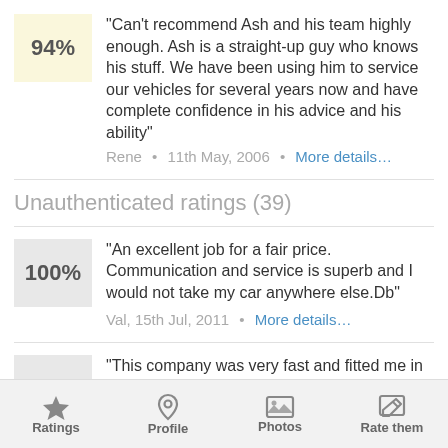94%
"Can't recommend Ash and his team highly enough. Ash is a straight-up guy who knows his stuff. We have been using him to service our vehicles for several years now and have complete confidence in his advice and his ability"
Rene · 11th May, 2006 · More details…
Unauthenticated ratings (39)
100%
"An excellent job for a fair price. Communication and service is superb and I would not take my car anywhere else.Db"
Val, 15th Jul, 2011 · More details…
93%
"This company was very fast and fitted me in very
Ratings · Profile · Photos · Rate them